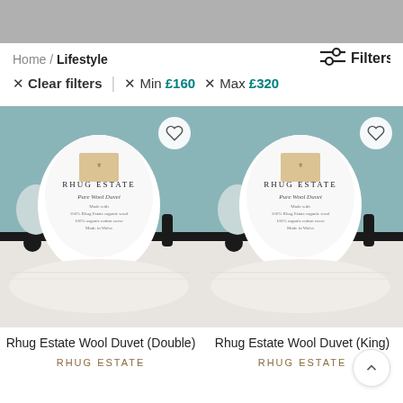Home / Lifestyle
Filters
× Clear filters  |  × Min £160  × Max £320
[Figure (photo): Rhug Estate Wool Duvet product photo showing white duvet packaging on a bed with black iron headboard, teal background]
Rhug Estate Wool Duvet (Double)
RHUG ESTATE
[Figure (photo): Rhug Estate Wool Duvet product photo showing white duvet packaging on a bed with black iron headboard, teal background]
Rhug Estate Wool Duvet (King)
RHUG ESTATE